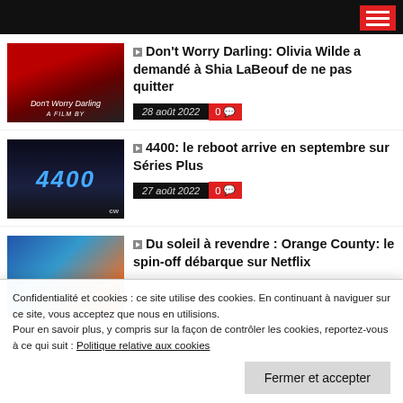Navigation header with hamburger menu
Don't Worry Darling: Olivia Wilde a demandé à Shia LaBeouf de ne pas quitter — 28 août 2022 — 0 comments
4400: le reboot arrive en septembre sur Séries Plus — 27 août 2022 — 0 comments
Du soleil à revendre : Orange County: le spin-off débarque sur Netflix
Confidentialité et cookies : ce site utilise des cookies. En continuant à naviguer sur ce site, vous acceptez que nous en utilisions. Pour en savoir plus, y compris sur la façon de contrôler les cookies, reportez-vous à ce qui suit : Politique relative aux cookies
Fermer et accepter